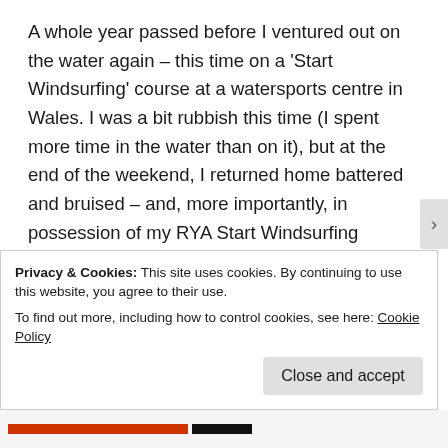A whole year passed before I ventured out on the water again – this time on a 'Start Windsurfing' course at a watersports centre in Wales. I was a bit rubbish this time (I spent more time in the water than on it), but at the end of the weekend, I returned home battered and bruised – and, more importantly, in possession of my RYA Start Windsurfing certificate. I then found somewhere closer to home (Broxbourne in Essex), where I've been having practice sessions at the East London Windsurfing School. It's now end of term, so to speak; I had my last practice session for this year yesterday and am looking forward to next spring when it all kicks off again.
Privacy & Cookies: This site uses cookies. By continuing to use this website, you agree to their use.
To find out more, including how to control cookies, see here: Cookie Policy